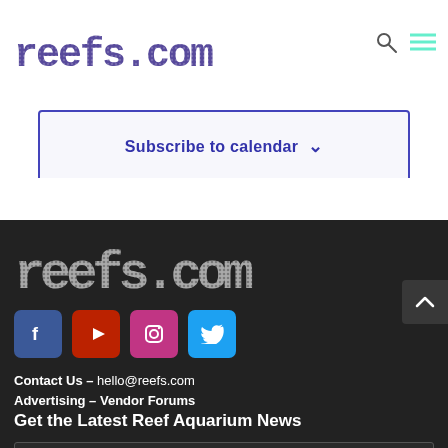reefs.com
Subscribe to calendar
[Figure (logo): reefs.com dot-matrix logo in dark color on dark background footer]
[Figure (infographic): Social media icons row: Facebook (blue), YouTube (red), Instagram (pink/purple), Twitter (light blue)]
Contact Us – hello@reefs.com
Advertising – Vendor Forums
Get the Latest Reef Aquarium News
Email Address